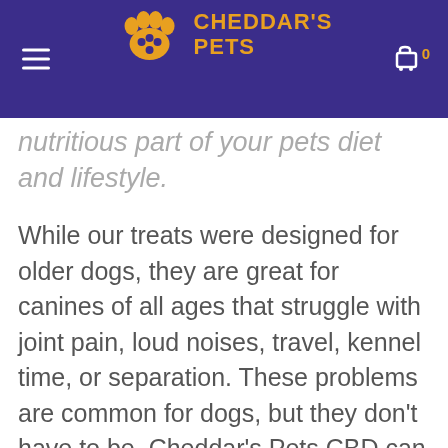CHEDDAR'S PETS
nutritious part of your pets diet and lifestyle.
While our treats were designed for older dogs, they are great for canines of all ages that struggle with joint pain, loud noises, travel, kennel time, or separation. These problems are common for dogs, but they don't have to be. Cheddar's Pets CBD can help our furbabies feel better.